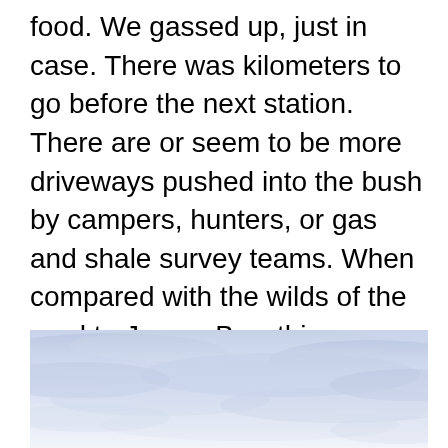food. We gassed up, just in case. There was kilometers to go before the next station. There are or seem to be more driveways pushed into the bush by campers, hunters, or gas and shale survey teams. When compared with the wilds of the road to James Bay, this seems a built up suburb. Whereas we would see perhaps 5-6 other travelers in an entire day of driving, on the 389 as the Trans Labrador, we would see 1-2 travelers per hour if not more.
[Figure (photo): A photograph of a cloudy sky with pale blue-grey clouds and a light, hazy atmosphere.]